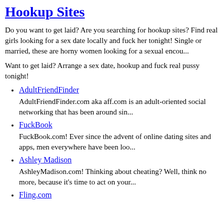Hookup Sites
Do you want to get laid? Are you searching for hookup sites? Find real girls looking for a sex date locally and fuck her tonight! Single or married, these are horny women looking for a sexual encou...
Want to get laid? Arrange a sex date, hookup and fuck real pussy tonight!
AdultFriendFinder
AdultFriendFinder.com aka aff.com is an adult-oriented social networking that has been around sin...
FuckBook
FuckBook.com! Ever since the advent of online dating sites and apps, men everywhere have been loo...
Ashley Madison
AshleyMadison.com! Thinking about cheating? Well, think no more, because it's time to act on your...
Fling.com